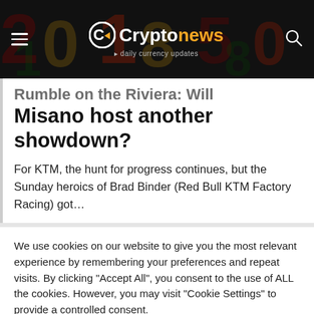Cryptonews · daily currency updates
Rumble on the Riviera: Will Misano host another showdown?
For KTM, the hunt for progress continues, but the Sunday heroics of Brad Binder (Red Bull KTM Factory Racing) got...
We use cookies on our website to give you the most relevant experience by remembering your preferences and repeat visits. By clicking "Accept All", you consent to the use of ALL the cookies. However, you may visit "Cookie Settings" to provide a controlled consent.
Cookie Settings
Accept All